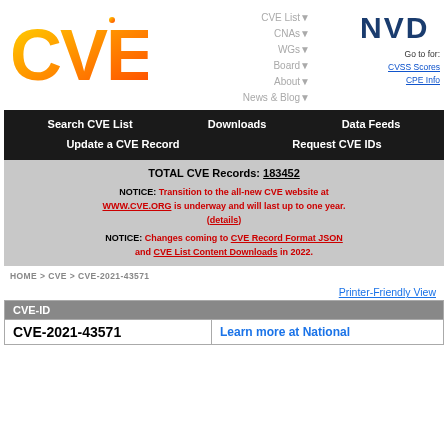[Figure (logo): CVE orange gradient logo with circuit-board styling]
CVE List▼ CNAs▼ WGs▼ Board▼ About▼ News & Blog▼
[Figure (logo): NVD logo - dark blue bold text]
Go to for: CVSS Scores CPE Info
Search CVE List   Downloads   Data Feeds   Update a CVE Record   Request CVE IDs
TOTAL CVE Records: 183452
NOTICE: Transition to the all-new CVE website at WWW.CVE.ORG is underway and will last up to one year. (details)
NOTICE: Changes coming to CVE Record Format JSON and CVE List Content Downloads in 2022.
HOME > CVE > CVE-2021-43571
Printer-Friendly View
| CVE-ID |  |
| --- | --- |
| CVE-2021-43571 | Learn more at National |